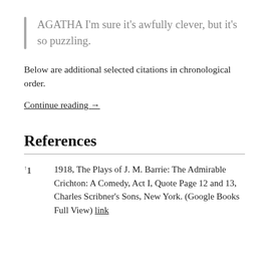AGATHA I'm sure it's awfully clever, but it's so puzzling.
Below are additional selected citations in chronological order.
Continue reading →
References
1 1918, The Plays of J. M. Barrie: The Admirable Crichton: A Comedy, Act I, Quote Page 12 and 13, Charles Scribner's Sons, New York. (Google Books Full View) link